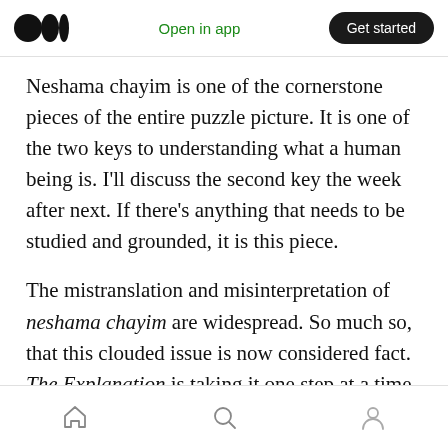Open in app | Get started
Neshama chayim is one of the cornerstone pieces of the entire puzzle picture. It is one of the two keys to understanding what a human being is. I'll discuss the second key the week after next. If there's anything that needs to be studied and grounded, it is this piece.
The mistranslation and misinterpretation of neshama chayim are widespread. So much so, that this clouded issue is now considered fact. The Explanation is taking it one step at a time to unlock its meaning.
Navigation: Home, Search, Profile